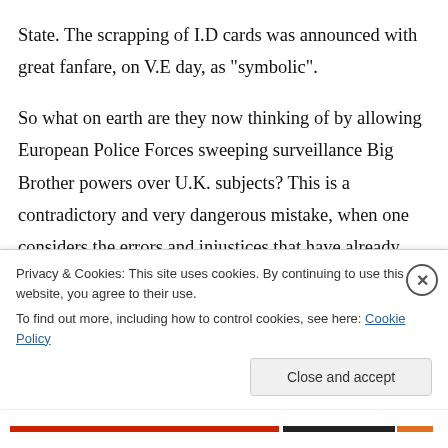State. The scrapping of I.D cards was announced with great fanfare, on V.E day, as "symbolic".

So what on earth are they now thinking of by allowing European Police Forces sweeping surveillance Big Brother powers over U.K. subjects? This is a contradictory and very dangerous mistake, when one considers the errors and injustices that have already happened here in the U.K with our own police officers and
Privacy & Cookies: This site uses cookies. By continuing to use this website, you agree to their use.
To find out more, including how to control cookies, see here: Cookie Policy
Close and accept